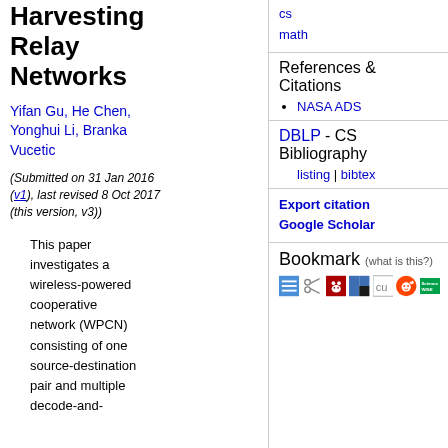Harvesting Relay Networks
Yifan Gu, He Chen, Yonghui Li, Branka Vucetic
(Submitted on 31 Jan 2016 (v1), last revised 8 Oct 2017 (this version, v3))
This paper investigates a wireless-powered cooperative network (WPCN) consisting of one source-destination pair and multiple decode-and-
cs
math
References & Citations
NASA ADS
DBLP - CS Bibliography
listing | bibtex
Export citation
Google Scholar
Bookmark (what is this?)